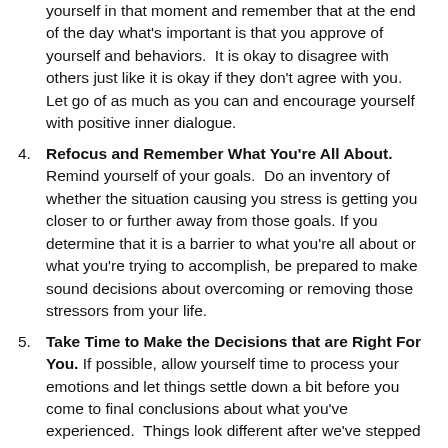yourself in that moment and remember that at the end of the day what's important is that you approve of yourself and behaviors.  It is okay to disagree with others just like it is okay if they don't agree with you.  Let go of as much as you can and encourage yourself with positive inner dialogue.
4. Refocus and Remember What You're All About. Remind yourself of your goals.  Do an inventory of whether the situation causing you stress is getting you closer to or further away from those goals. If you determine that it is a barrier to what you're all about or what you're trying to accomplish, be prepared to make sound decisions about overcoming or removing those stressors from your life.
5. Take Time to Make the Decisions that are Right For You. If possible, allow yourself time to process your emotions and let things settle down a bit before you come to final conclusions about what you've experienced.  Things look different after we've stepped away from it for a while and you may be in a better position to make decisions that